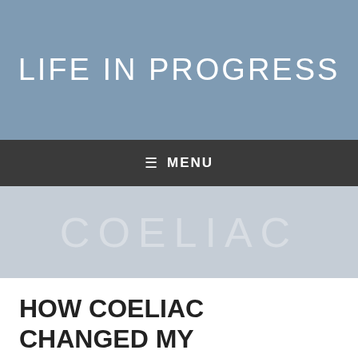LIFE IN PROGRESS
≡ MENU
COELIAC
HOW COELIAC CHANGED MY RELATIONSHIP WITH FOOD
Posted on August 31, 2018